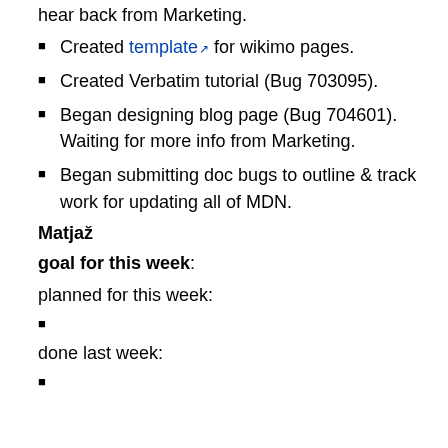hear back from Marketing.
Created template for wikimo pages.
Created Verbatim tutorial (Bug 703095).
Began designing blog page (Bug 704601). Waiting for more info from Marketing.
Began submitting doc bugs to outline & track work for updating all of MDN.
Matjaž
goal for this week:
planned for this week:
done last week: